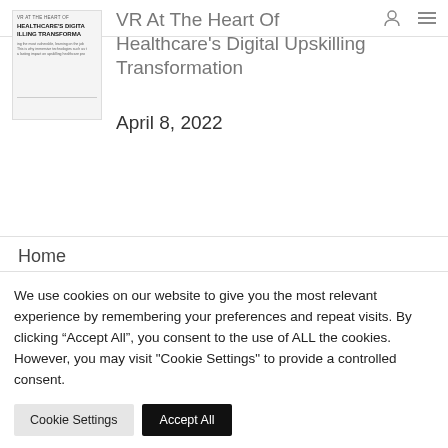VR At The Heart Of Healthcare's Digital Upskilling Transformation
[Figure (screenshot): Thumbnail of article cover showing text: VR AT THE HEART OF HEALTHCARE'S DIGITAL UPSKILLING TRANSFORMATION with body text below]
VR At The Heart Of Healthcare's Digital Upskilling Transformation
April 8, 2022
Home
We use cookies on our website to give you the most relevant experience by remembering your preferences and repeat visits. By clicking “Accept All”, you consent to the use of ALL the cookies. However, you may visit "Cookie Settings" to provide a controlled consent.